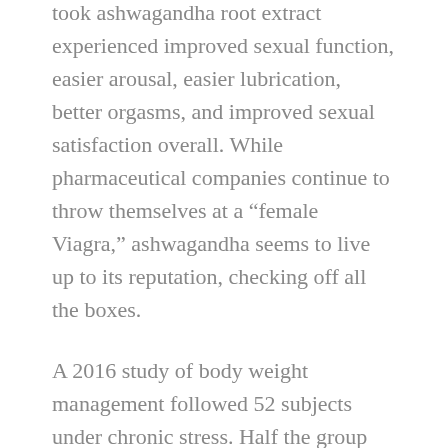took ashwagandha root extract experienced improved sexual function, easier arousal, easier lubrication, better orgasms, and improved sexual satisfaction overall. While pharmaceutical companies continue to throw themselves at a “female Viagra,” ashwagandha seems to live up to its reputation, checking off all the boxes.
A 2016 study of body weight management followed 52 subjects under chronic stress. Half the group received ashwagandha root extract and half received a placebo. Over 8 weeks both groups were assessed for food cravings, serum cortisol, body weight and body mass index. The ashwagandha group showed improved scores in all categories, while the placebo group did not, suggesting that ashwagandha may be beneficial in a weight